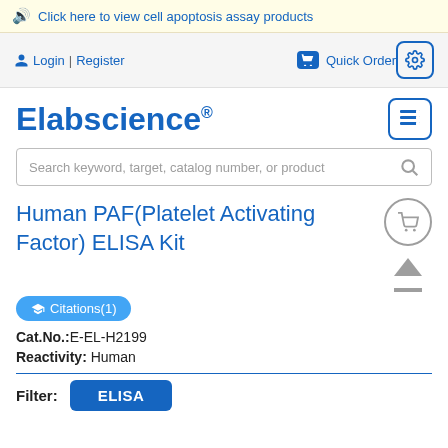Click here to view cell apoptosis assay products
Login | Register
Quick Order
Elabscience®
Search keyword, target, catalog number, or product
Human PAF(Platelet Activating Factor) ELISA Kit
Citations(1)
Cat.No.:E-EL-H2199
Reactivity: Human
Filter: ELISA